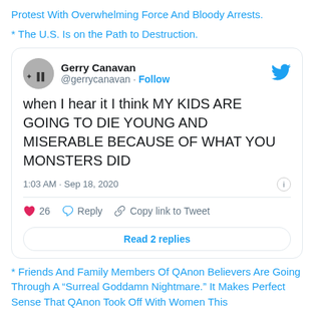Protest With Overwhelming Force And Bloody Arrests.
* The U.S. Is on the Path to Destruction.
[Figure (screenshot): Embedded tweet from @gerrycanavan (Gerry Canavan) dated 1:03 AM · Sep 18, 2020. Tweet text: 'when I hear it I think MY KIDS ARE GOING TO DIE YOUNG AND MISERABLE BECAUSE OF WHAT YOU MONSTERS DID'. Shows 26 likes, Reply, Copy link to Tweet, and Read 2 replies button.]
* Friends And Family Members Of QAnon Believers Are Going Through A “Surreal Goddamn Nightmare.” It Makes Perfect Sense That QAnon Took Off With Women This